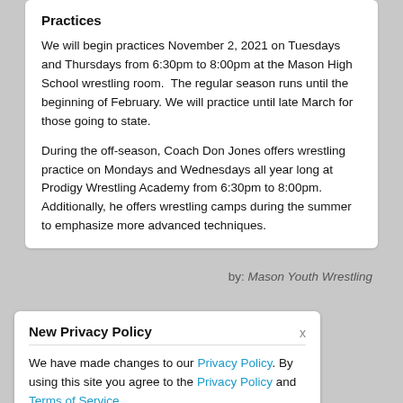Practices
We will begin practices November 2, 2021 on Tuesdays and Thursdays from 6:30pm to 8:00pm at the Mason High School wrestling room.  The regular season runs until the beginning of February. We will practice until late March for those going to state.
During the off-season, Coach Don Jones offers wrestling practice on Mondays and Wednesdays all year long at Prodigy Wrestling Academy from 6:30pm to 8:00pm.  Additionally, he offers wrestling camps during the summer to emphasize more advanced techniques.
by: Mason Youth Wrestling
New Privacy Policy
We have made changes to our Privacy Policy. By using this site you agree to the Privacy Policy and Terms of Service.